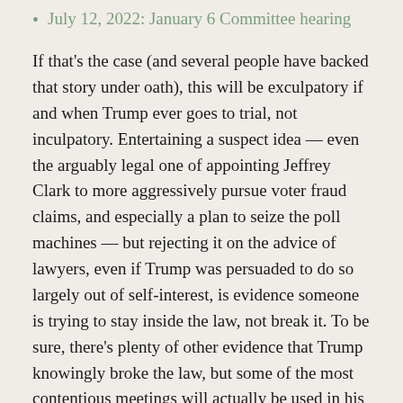July 12, 2022: January 6 Committee hearing
If that's the case (and several people have backed that story under oath), this will be exculpatory if and when Trump ever goes to trial, not inculpatory. Entertaining a suspect idea — even the arguably legal one of appointing Jeffrey Clark to more aggressively pursue voter fraud claims, and especially a plan to seize the poll machines — but rejecting it on the advice of lawyers, even if Trump was persuaded to do so largely out of self-interest, is evidence someone is trying to stay inside the law, not break it. To be sure, there's plenty of other evidence that Trump knowingly broke the law, but some of the most contentious meetings will actually be used in his defense. That just means prosecutors